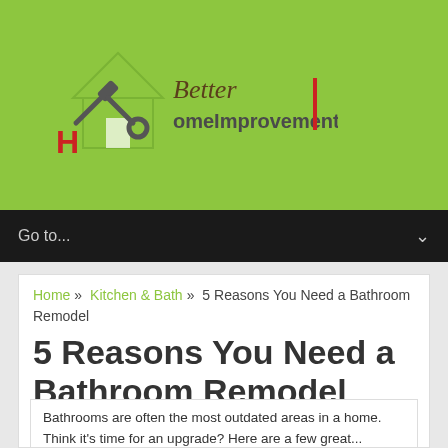[Figure (logo): Better Home Improvement logo with house icon and tools]
Go to...
Home » Kitchen & Bath » 5 Reasons You Need a Bathroom Remodel
5 Reasons You Need a Bathroom Remodel
Author: Admin | Posted In Kitchen & Bath | No Comments
Bathrooms are often the most outdated areas in a home. Think it's time for an upgrade? Here are a few great...